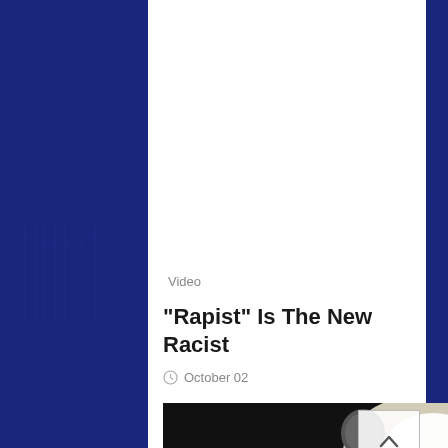[Figure (screenshot): Dark blue background with US Capitol building silhouette, overlaid with a white card panel showing article metadata and a video thumbnail of two people]
Video
"Rapist" Is The New Racist
October 02